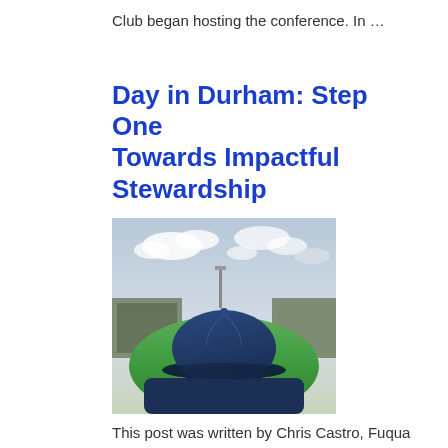Club began hosting the conference. In …
Day in Durham: Step One Towards Impactful Stewardship
[Figure (photo): Person seen from behind wearing a blue baseball cap, overlooking a baseball stadium field with a cloudy sky above.]
This post was written by Chris Castro, Fuqua MBA 2017 and a CASE Scholar. After graduating from Loyola Marymount University, Chris was a 5th and